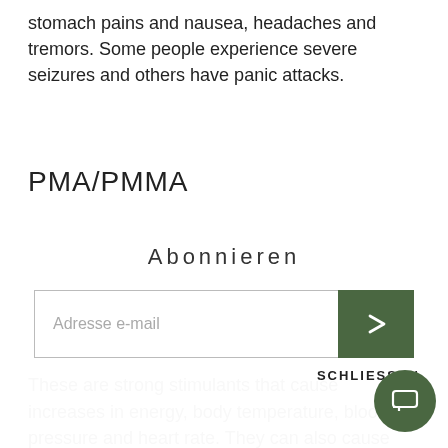stomach pains and nausea, headaches and tremors. Some people experience severe seizures and others have panic attacks.
PMA/PMMA
Abonnieren
Adresse e-mail
SCHLIESSEN
methamphetamine.
These are strong stimulants that cause increases in energy, body temperature, blood pressure and heart rate. They can also cause hallucinations, convulsions and respiratory distress. Some people have received